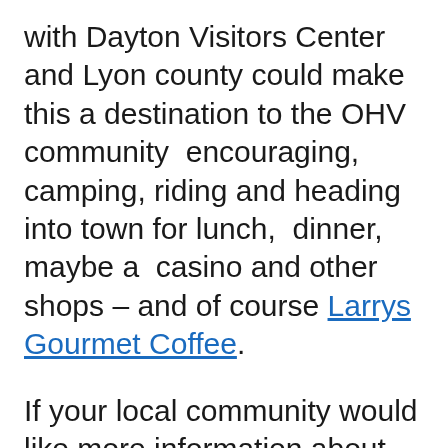with Dayton Visitors Center and Lyon county could make this a destination to the OHV community  encouraging,  camping, riding and heading into town for lunch,  dinner, maybe a  casino and other shops – and of course Larrys Gourmet Coffee.
If your local community would like more information about how to leverage the spending